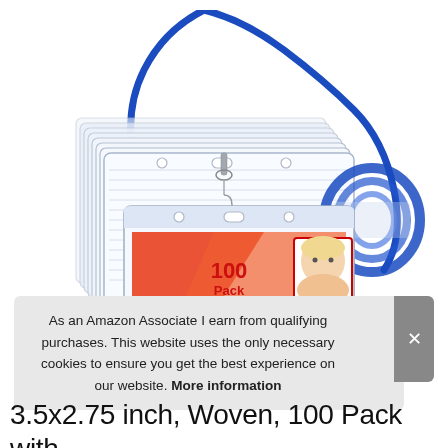[Figure (photo): Product photo showing a stack of transparent horizontal badge holders/name tag sleeves with blue woven lanyards. A blue rope lanyard coiled in the background, and a badge holder in the front displaying a sample ID card with '100 Pack' text and a woman's photo.]
As an Amazon Associate I earn from qualifying purchases. This website uses the only necessary cookies to ensure you get the best experience on our website. More information
3.5x2.75 inch, Woven, 100 Pack with